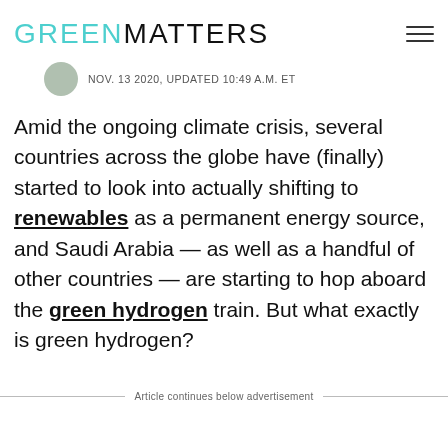GREENMATTERS
NOV. 13 2020, UPDATED 10:49 A.M. ET
Amid the ongoing climate crisis, several countries across the globe have (finally) started to look into actually shifting to renewables as a permanent energy source, and Saudi Arabia — as well as a handful of other countries — are starting to hop aboard the green hydrogen train. But what exactly is green hydrogen?
Article continues below advertisement